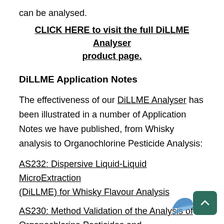can be analysed.
CLICK HERE to visit the full DiLLME Analyser product page.
DiLLME Application Notes
The effectiveness of our DiLLME Analyser has been illustrated in a number of Application Notes we have published, from Whisky analysis to Organochlorine Pesticide Analysis:
AS232: Dispersive Liquid-Liquid MicroExtraction (DiLLME) for Whisky Flavour Analysis
AS230: Method Validation of the Analysis of Organochlorine Pesticides and Polychlorinated